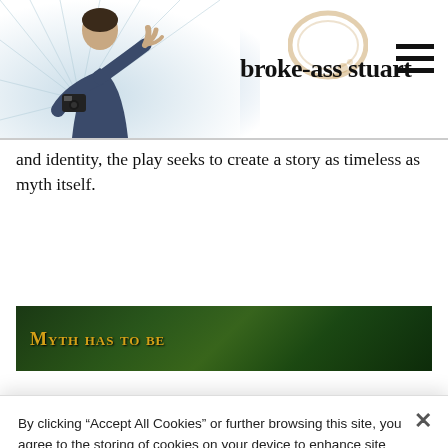broke-ass stuart
and identity, the play seeks to create a story as timeless as myth itself.
[Figure (photo): A banner image with dark jungle/forest background and gold small-caps text reading 'MYTH HAS TO BE']
By clicking “Accept All Cookies” or further browsing this site, you agree to the storing of cookies on your device to enhance site navigation, analyze site usage, and assist in our marketing efforts.  Cookie Policy
Cookies Settings
Reject All
Accept All Cookies